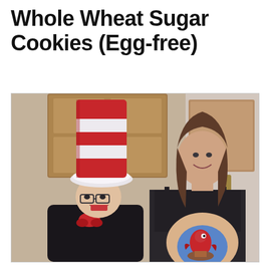Whole Wheat Sugar Cookies (Egg-free)
[Figure (photo): Two people posing together indoors in front of wooden cabinet doors. Person on the left is wearing a tall red and white striped Cat in the Hat costume hat, glasses, black shirt, and a red bow tie accessory, laughing with mouth open. Person on the right is a smiling woman with shoulder-length brown hair wearing a black spaghetti-strap top with a bare pregnant belly that has a painting of a red Dr. Seuss-style fish/creature on a blue circular background.]